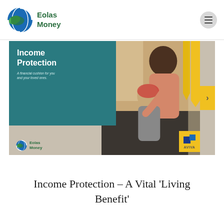Eolas Money
[Figure (photo): Income Protection promotional banner image showing a mother and child laughing together, with a teal overlay box reading 'Income Protection – A financial cushion for you and your loved ones.' The Eolas Money logo appears in the bottom left of the banner, an Aviva badge in yellow appears bottom right, and yellow accent shapes appear on the right side.]
Income Protection – A Vital ‘Living Benefit’